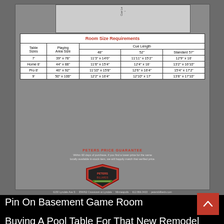[Figure (table-as-image): Billiards room size requirements reference card from Peters Billiards showing pool table sizes and required room dimensions for different cue lengths]
| Table Sizes | Playing Area Size | 48" | 52" | Standard 57" |
| --- | --- | --- | --- | --- |
| 7' | 39" x 78" | 11'3" x 14'6" | 11'11" x 15'2" | 12'9" x 16' |
| Home 8' | 44" x 88" | 11'8" x 15'4" | 12'4" x 16' | 13'2" x 16'10" |
| Pro 8' | 46" x 92" | 11'10" x 15'8" | 12'6" x 16'4" | 15'4" x 17'2" |
| 9' | 50" x 100" | 12'2" x 16'4" | 12'10" x 17' | 13'8" x 17'10" |
PETERS PRICE GUARANTEE
Within 60 days of purchase, if you find a lower price for the same locally available in-stock item, we will happily match that verified price.
6150 Lyndale Ave S · 35W/62 Crosstown at Lyndale · Minneapolis · 612.866.0433 · petersbilliards.com
Pin On Basement Game Room
Buying A Pool Table For That New Remodel Check This Spacing Guide First Pool Table Buy A Pool